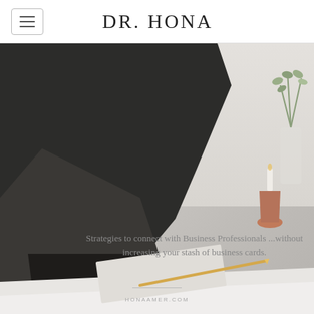DR. HONA
[Figure (photo): A person in a dark blazer leaning over a white desk with a notebook and pencil. A candle in a terracotta holder and a eucalyptus plant in a glass vase are visible in the background. Text overlay reads: 'Strategies to connect with Business Professionals ...without increasing your stash of business cards.' Bottom reads HONAAMER.COM]
Strategies to connect with Business Professionals ...without increasing your stash of business cards.
HONAAMER.COM